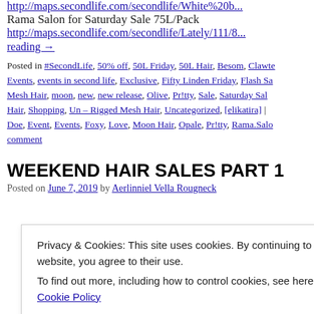http://maps.secondlife.com/secondlife/White%20...
Rama Salon for Saturday Sale 75L/Pack
http://maps.secondlife.com/secondlife/Lately/111/8...
reading →
Posted in #SecondLife, 50% off, 50L Friday, 50L Hair, Besom, Clawte Events, events in second life, Exclusive, Fifty Linden Friday, Flash Sa Mesh Hair, moon, new, new release, Olive, Pr!tty, Sale, Saturday Sal Hair, Shopping, Un – Rigged Mesh Hair, Uncategorized, [elikatira] | Doe, Event, Events, Foxy, Love, Moon Hair, Opale, Pr!tty, Rama.Salo comment
WEEKEND HAIR SALES PART 1
Posted on June 7, 2019 by Aerlinniel Vella Rougneck
Privacy & Cookies: This site uses cookies. By continuing to use this website, you agree to their use.
To find out more, including how to control cookies, see here:
Cookie Policy
Close and accept